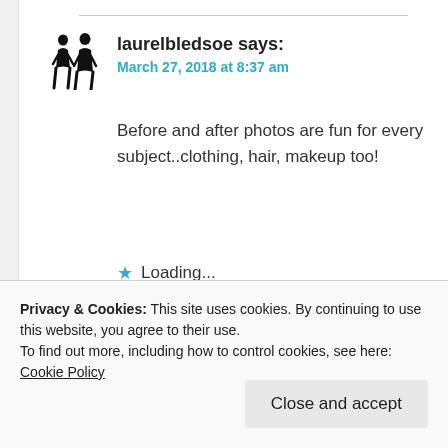[Figure (illustration): Two black silhouette figures of women in dresses, serving as user avatar]
laurelbledsoe says:
March 27, 2018 at 8:37 am
Before and after photos are fun for every subject..clothing, hair, makeup too!
Loading...
Privacy & Cookies: This site uses cookies. By continuing to use this website, you agree to their use.
To find out more, including how to control cookies, see here: Cookie Policy